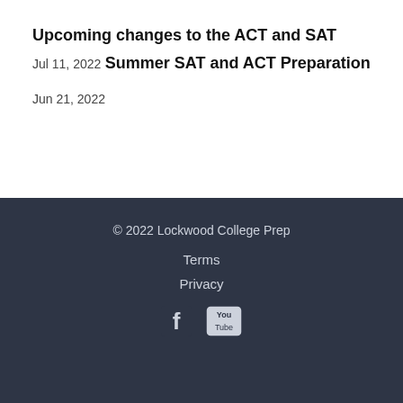Upcoming changes to the ACT and SAT
Jul 11, 2022
Summer SAT and ACT Preparation
Jun 21, 2022
© 2022 Lockwood College Prep
Terms
Privacy